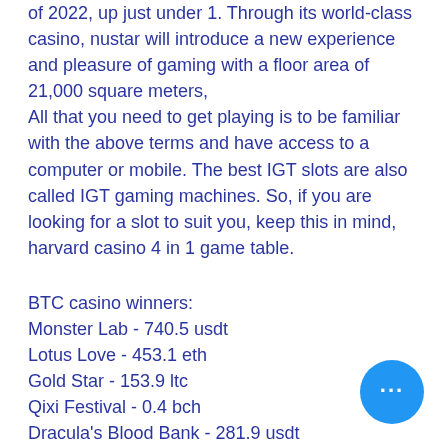of 2022, up just under 1. Through its world-class casino, nustar will introduce a new experience and pleasure of gaming with a floor area of 21,000 square meters, All that you need to get playing is to be familiar with the above terms and have access to a computer or mobile. The best IGT slots are also called IGT gaming machines. So, if you are looking for a slot to suit you, keep this in mind, harvard casino 4 in 1 game table.
BTC casino winners:
Monster Lab - 740.5 usdt
Lotus Love - 453.1 eth
Gold Star - 153.9 ltc
Qixi Festival - 0.4 bch
Dracula's Blood Bank - 281.9 usdt
Sugarpop - 53.7 bch
Rich Castle - 476.6 ltc
Jewels - 421 ltc
Ancient Mexico - 434.4 ltc